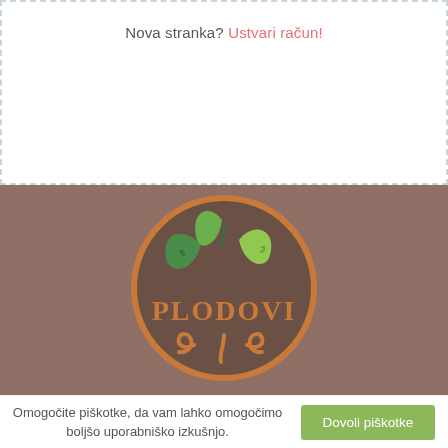Nova stranka? Ustvari račun!
[Figure (logo): Plodovi logo: circular brown badge with orange border, featuring green decorative leaves on top and orange swirl roots below, with 'PLODOVI' text in orange inside the circle, on a muted brown background.]
Omogočite piškotke, da vam lahko omogočimo boljšo uporabniško izkušnjo. Dovoli piškotke